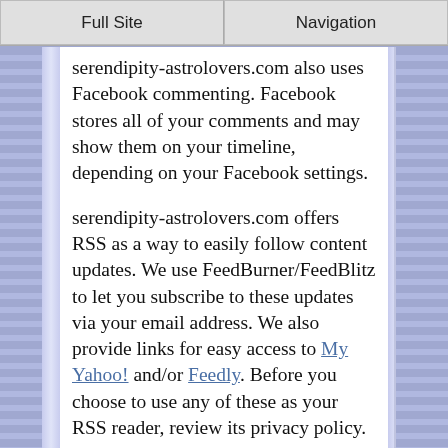Full Site | Navigation
serendipity-astrolovers.com also uses Facebook commenting. Facebook stores all of your comments and may show them on your timeline, depending on your Facebook settings.
serendipity-astrolovers.com offers RSS as a way to easily follow content updates. We use FeedBurner/FeedBlitz to let you subscribe to these updates via your email address. We also provide links for easy access to My Yahoo! and/or Feedly. Before you choose to use any of these as your RSS reader, review its privacy policy.
You can always refuse to supply personally identifiable information and visit our site anonymously. However, it may prevent you from engaging in certain site-related activities.